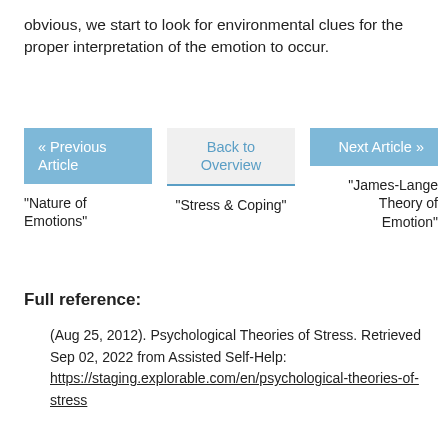obvious, we start to look for environmental clues for the proper interpretation of the emotion to occur.
« Previous Article
Back to Overview
Next Article »
"Nature of Emotions"
"Stress & Coping"
"James-Lange Theory of Emotion"
Full reference:
(Aug 25, 2012). Psychological Theories of Stress. Retrieved Sep 02, 2022 from Assisted Self-Help: https://staging.explorable.com/en/psychological-theories-of-stress